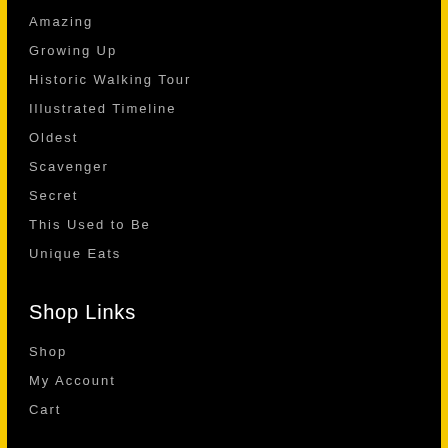Amazing
Growing Up
Historic Walking Tour
Illustrated Timeline
Oldest
Scavenger
Secret
This Used to Be
Unique Eats
Shop Links
Shop
My Account
Cart